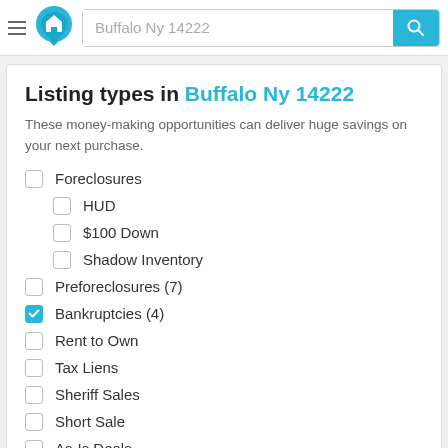[Figure (screenshot): Website header with hamburger menu, home logo, search bar showing 'Buffalo Ny 14222', and cyan search button]
Listing types in Buffalo Ny 14222
These money-making opportunities can deliver huge savings on your next purchase.
Foreclosures (unchecked)
HUD (unchecked, indented)
$100 Down (unchecked, indented)
Shadow Inventory (unchecked, indented)
Preforeclosures (7) (unchecked)
Bankruptcies (4) (checked)
Rent to Own (unchecked)
Tax Liens (unchecked)
Sheriff Sales (unchecked)
Short Sale (unchecked)
As-Is Deals (unchecked)